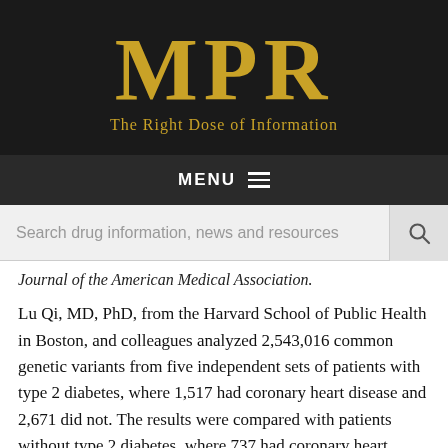MPR — The Right Dose of Information
Journal of the American Medical Association.
Lu Qi, MD, PhD, from the Harvard School of Public Health in Boston, and colleagues analyzed 2,543,016 common genetic variants from five independent sets of patients with type 2 diabetes, where 1,517 had coronary heart disease and 2,671 did not. The results were compared with patients without type 2 diabetes, where 737 had coronary heart disease and 1,637 did not.
The researchers found a significant association between